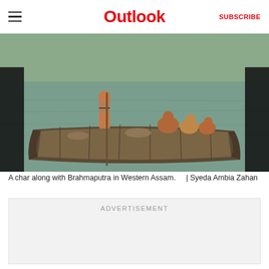Outlook | SUBSCRIBE
[Figure (photo): Children on a wooden boat on the Brahmaputra river in Western Assam. A char (river island) setting with greenish-brown water and a boy standing with a pole.]
A char along with Brahmaputra in Western Assam.    | Syeda Ambia Zahan
ADVERTISEMENT